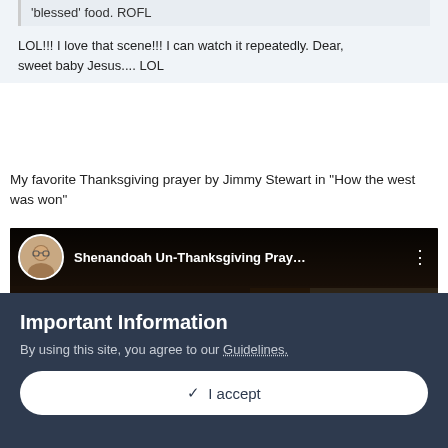'blessed' food. ROFL
LOL!!! I love that scene!!! I can watch it repeatedly. Dear, sweet baby Jesus.... LOL
My favorite Thanksgiving prayer by Jimmy Stewart in "How the west was won"
[Figure (screenshot): YouTube video embed showing 'Shenandoah Un-Thanksgiving Pray...' with a play button, dark background showing an older man from behind in a rustic setting]
Important Information
By using this site, you agree to our Guidelines.
✓ I accept